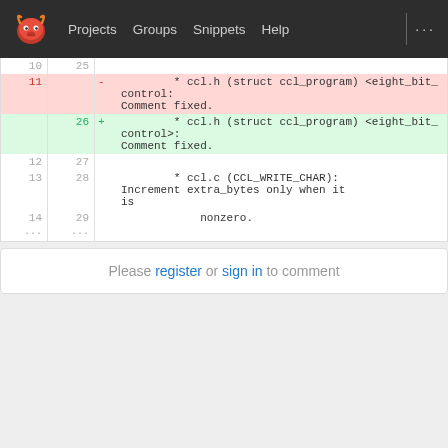Projects  Groups  Snippets  Help
[Figure (screenshot): GitLab code diff view showing removed and added lines. Line 10/25 empty, Line 11 deleted: '* ccl.h (struct ccl_program) <eight_bit_control: Comment fixed.', Line 26 added: '+ * ccl.h (struct ccl_program) <eight_bit_control>: Comment fixed.', Lines 12/27 empty, Lines 13/28: '* ccl.c (CCL_WRITE_CHAR): Increment extra_bytes only when it is', Lines 14/29: 'nonzero.', Ellipsis rows.]
Please register or sign in to comment